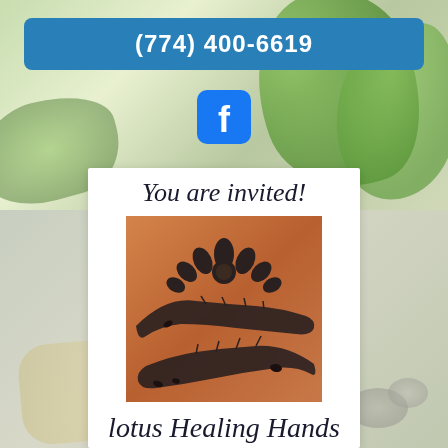(774) 400-6619
[Figure (logo): Facebook logo icon in blue rounded square]
You are invited!
[Figure (illustration): Lotus Healing Hands logo: two hands cradling a lotus flower on an orange/brown background]
lotus Healing Hands